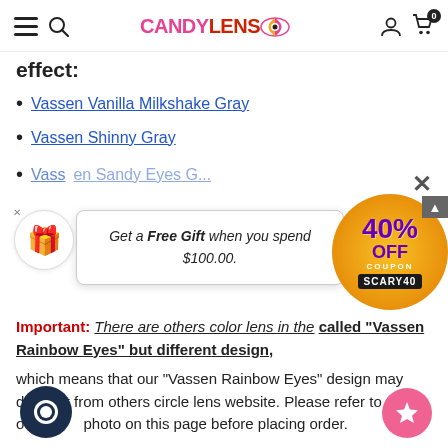CANDYLENS
effect:
Vassen Vanilla Milkshake Gray
Vassen Shinny Gray
Vassen Sandy Eyes Gray (partially obscured)
Get a Free Gift when you spend $100.00.
40% OFF COUPON SCARY40
Important: There are others color lens in the market called "Vassen Rainbow Eyes" but different design, which means that our "Vassen Rainbow Eyes" design may different from others circle lens website. Please refer to the our photo on this page before placing order.